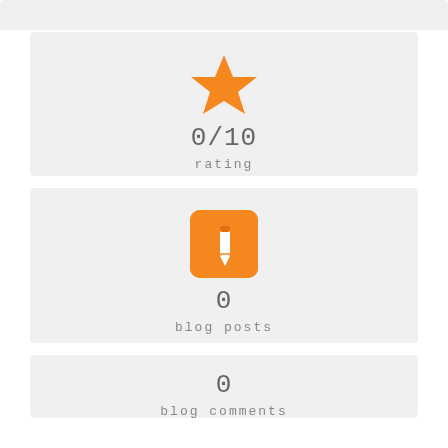[Figure (infographic): Orange star icon with rating 0/10 below it, and label 'rating']
0/10
rating
[Figure (infographic): Orange rounded square with pencil/edit icon, count 0, label 'blog posts']
0
blog posts
[Figure (infographic): Orange speech bubbles chat icon, count 0, label 'blog comments']
0
blog comments